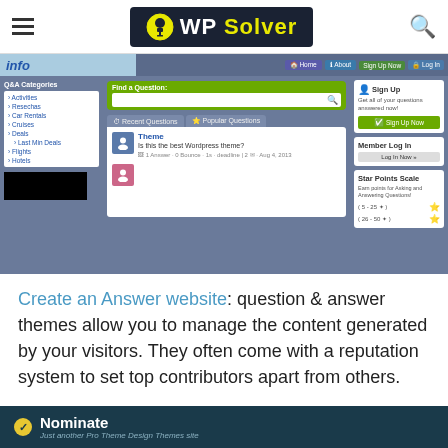WP Solver
[Figure (screenshot): Screenshot of a Q&A website theme showing categories sidebar, Find a Question search bar, Recent Questions and Popular Questions tabs, a sample question about WordPress themes, and a Sign Up / Member Log In sidebar with Star Points Scale]
Create an Answer website: question & answer themes allow you to manage the content generated by your visitors. They often come with a reputation system to set top contributors apart from others.
Nominate
Just another Pro Theme Design Themes site